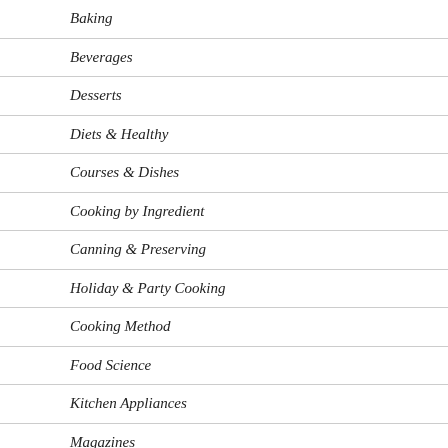Baking
Beverages
Desserts
Diets & Healthy
Courses & Dishes
Cooking by Ingredient
Canning & Preserving
Holiday & Party Cooking
Cooking Method
Food Science
Kitchen Appliances
Magazines
Professional Cooking
Seasonal Cooking